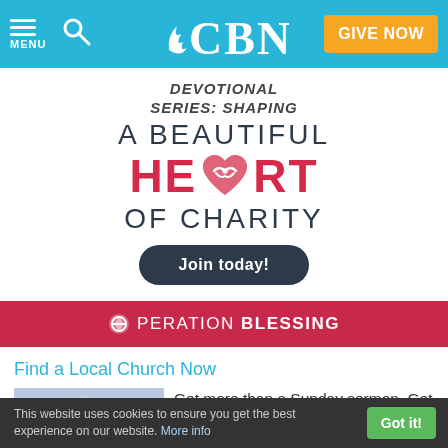CBN - MENU | Search | GIVE NOW
[Figure (illustration): CBN devotional series banner: DEVOTIONAL SERIES: SHAPING A BEAUTIFUL HEART OF CHARITY with heart icon and Join today! button]
[Figure (logo): Operation Blessing logo on red banner]
Find a Local Church Now
[Figure (illustration): Church with cross icon on blurred light background]
Get more than a Sunday sermon. Get to know others seeking God's guidance and wisdom for
This website uses cookies to ensure you get the best experience on our website. More info | Got it!